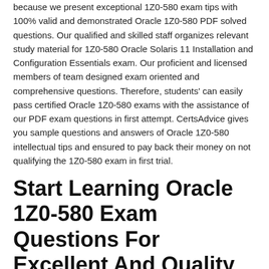because we present exceptional 1Z0-580 exam tips with 100% valid and demonstrated Oracle 1Z0-580 PDF solved questions. Our qualified and skilled staff organizes relevant study material for 1Z0-580 Oracle Solaris 11 Installation and Configuration Essentials exam. Our proficient and licensed members of team designed exam oriented and comprehensive questions. Therefore, students' can easily pass certified Oracle 1Z0-580 exams with the assistance of our PDF exam questions in first attempt. CertsAdvice gives you sample questions and answers of Oracle 1Z0-580 intellectual tips and ensured to pay back their money on not qualifying the 1Z0-580 exam in first trial.
Start Learning Oracle 1Z0-580 Exam Questions For Excellent And Quality Results
The first and foremost objective of licensed Oracle 1Z0-580 exam is the guaranteed success of their students'. This forum established on an objective to expand all our exam tips of a Oracle 1Z0-580 in a